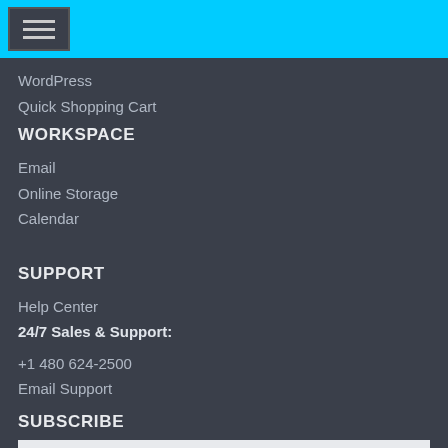[Figure (screenshot): Cyan top navigation bar with hamburger menu button]
WordPress
Quick Shopping Cart
WORKSPACE
Email
Online Storage
Calendar
SUPPORT
Help Center
24/7 Sales & Support:
+1 480 624-2500
Email Support
SUBSCRIBE
Enter name